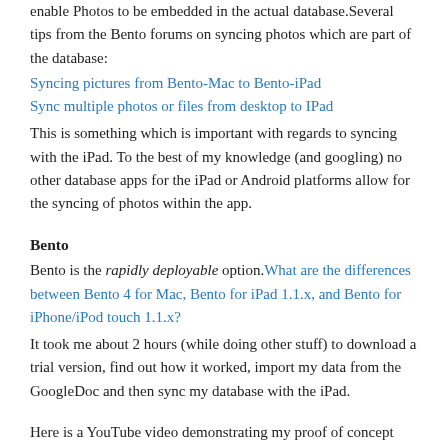enable Photos to be embedded in the actual database.Several tips from the Bento forums on syncing photos which are part of the database:
Syncing pictures from Bento-Mac to Bento-iPad
Sync multiple photos or files from desktop to IPad
This is something which is important with regards to syncing with the iPad. To the best of my knowledge (and googling) no other database apps for the iPad or Android platforms allow for the syncing of photos within the app.
Bento
Bento is the rapidly deployable option. What are the differences between Bento 4 for Mac, Bento for iPad 1.1.x, and Bento for iPhone/iPod touch 1.1.x?
It took me about 2 hours (while doing other stuff) to download a trial version, find out how it worked, import my data from the GoogleDoc and then sync my database with the iPad.
Here is a YouTube video demonstrating my proof of concept using Bento.